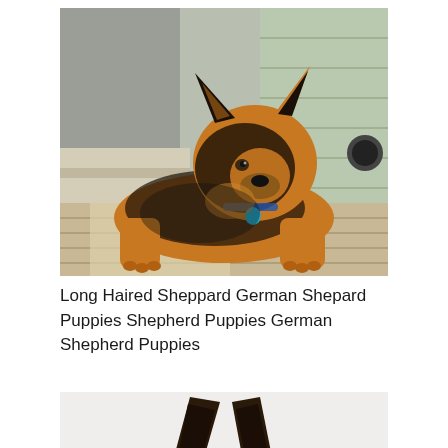[Figure (photo): A German Shepherd puppy lying on a wooden deck/porch. The puppy has black and tan long fur, with perked ears, and is wearing a small blue collar tag. In the background are wooden siding of a house and metal/wood porch furniture.]
Long Haired Sheppard German Shepard Puppies Shepherd Puppies German Shepherd Puppies
[Figure (photo): Partial view of a dog's ears (black/dark colored) seen from behind, cropped at the bottom of the page.]